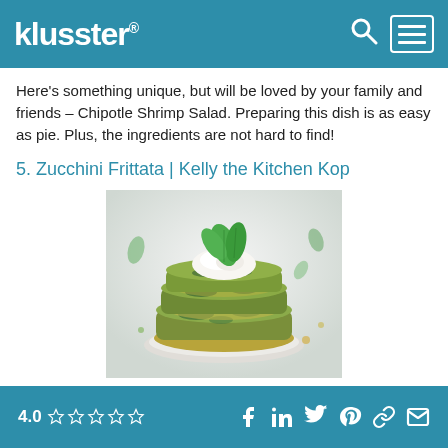klusster®
Here's something unique, but will be loved by your family and friends – Chipotle Shrimp Salad. Preparing this dish is as easy as pie. Plus, the ingredients are not hard to find!
5. Zucchini Frittata | Kelly the Kitchen Kop
[Figure (photo): Photo of a zucchini frittata stack on a plate, topped with sour cream or yogurt and fresh mint leaves]
4.0 ☆☆☆☆☆ [social icons: Facebook, LinkedIn, Twitter, Pinterest, Link, Email]